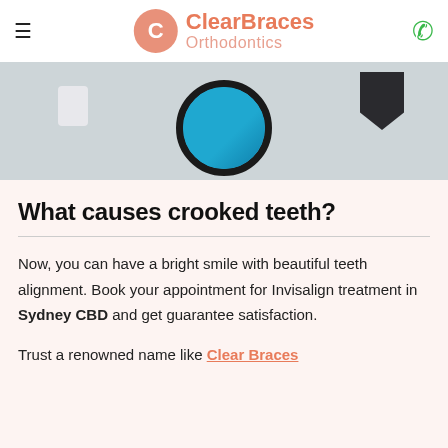ClearBraces Orthodontics
[Figure (photo): Dental impression mold tray in blue and a dark triangular/cap shaped object on a light background]
What causes crooked teeth?
Now, you can have a bright smile with beautiful teeth alignment. Book your appointment for Invisalign treatment in Sydney CBD and get guarantee satisfaction.
Trust a renowned name like Clear Braces Orthodontics for an orthodontic treatment.